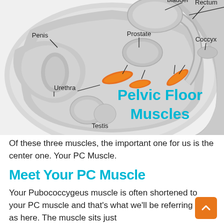[Figure (illustration): Cross-sectional anatomical diagram of male pelvic anatomy showing bladder, Rectum, Penis, Prostate, Urethra, Testis, and Coccyx labels with arrows. Three pelvic floor muscles highlighted in orange. Large cyan text reads 'Pelvic Floor Muscles' overlaid on lower right of diagram.]
Of these three muscles, the important one for us is the center one. Your PC Muscle.
Meet Your PC Muscle
Your Pubococcygeus muscle is often shortened to your PC muscle and that's what we'll be referring to it as here. The muscle sits just